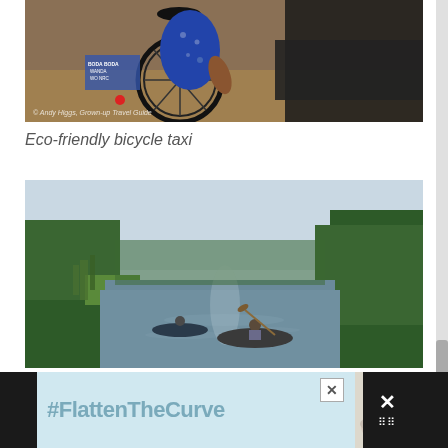[Figure (photo): Close-up of a bicycle taxi from behind, showing the rear wheel, bicycle seat, and a person in a blue floral garment riding it on a dirt surface]
© Andy Higgs, Grown-up Travel Guide
Eco-friendly bicycle taxi
[Figure (photo): People in inflatable boats/kayaks paddling along a river or canal through lush green jungle/forest vegetation under a pale blue sky at dusk]
[Figure (other): Advertisement banner with text #FlattenTheCurve on blue background with image of hands washing, and dark sidebar with X close button]